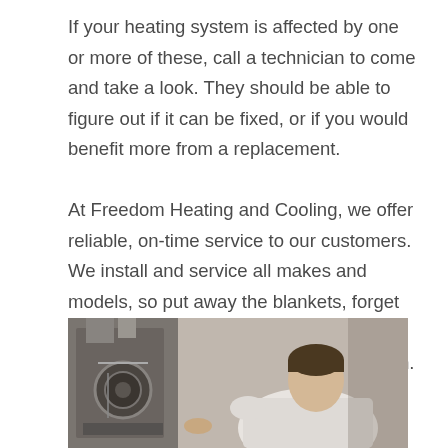If your heating system is affected by one or more of these, call a technician to come and take a look. They should be able to figure out if it can be fixed, or if you would benefit more from a replacement.

At Freedom Heating and Cooling, we offer reliable, on-time service to our customers. We install and service all makes and models, so put away the blankets, forget about making a fire, and get ready to find warm comfort in your new heating system.
[Figure (photo): A technician in a white shirt working on an open HVAC/furnace unit. The unit has visible metalwork, a circular component (motor or fan), and metal ductwork piping above. The background is a muted brown/beige wall. The technician is leaning in to inspect or repair the equipment.]